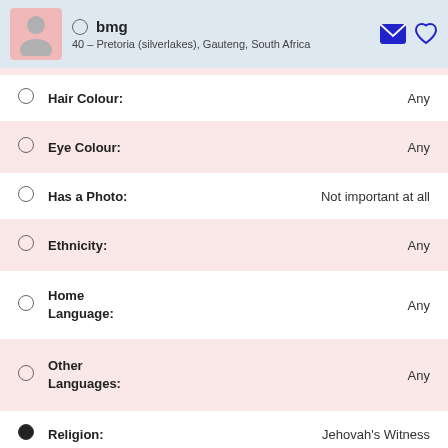bmg — 40 – Pretoria (silverlakes), Gauteng, South Africa
Hair Colour: Any
Eye Colour: Any
Has a Photo: Not important at all
Ethnicity: Any
Home Language: Any
Other Languages: Any
Religion: Jehovah's Witness